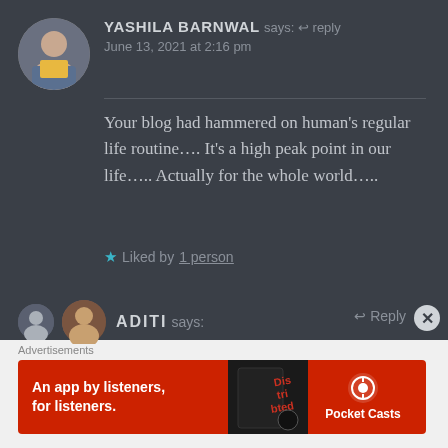YASHILA BARNWAL says: Reply
June 13, 2021 at 2:16 pm
Your blog had hammered on human's regular life routine…. It's a high peak point in our life….. Actually for the whole world…..
★ Liked by 1 person
ADITI says: Reply
Advertisements
An app by listeners, for listeners. Pocket Casts